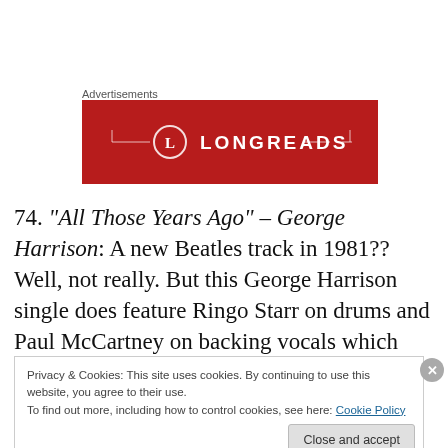Advertisements
[Figure (logo): Longreads advertisement banner, red background with white Longreads logo and circular L icon]
74. “All Those Years Ago” – George Harrison: A new Beatles track in 1981?? Well, not really. But this George Harrison single does feature Ringo Starr on drums and Paul McCartney on backing vocals which were added in
Privacy & Cookies: This site uses cookies. By continuing to use this website, you agree to their use.
To find out more, including how to control cookies, see here: Cookie Policy
Close and accept